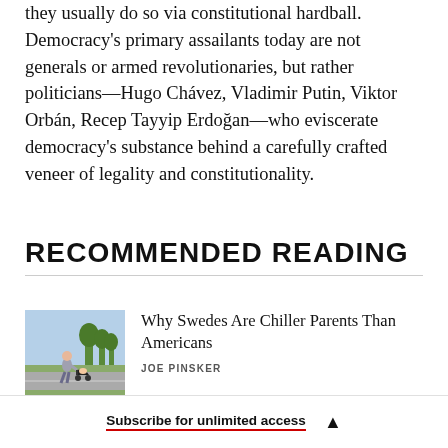they usually do so via constitutional hardball. Democracy's primary assailants today are not generals or armed revolutionaries, but rather politicians—Hugo Chávez, Vladimir Putin, Viktor Orbán, Recep Tayyip Erdoğan—who eviscerate democracy's substance behind a carefully crafted veneer of legality and constitutionality.
RECOMMENDED READING
Why Swedes Are Chiller Parents Than Americans
JOE PINSKER
Subscribe for unlimited access